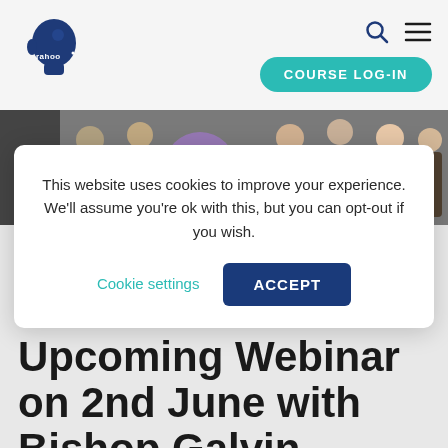[Figure (logo): Rahoo logo: dark blue human head silhouette with 'rahoo' text]
[Figure (photo): Banner photo of a group of people with a purple Rahoo circle badge]
This website uses cookies to improve your experience. We'll assume you're ok with this, but you can opt-out if you wish.
Cookie settings
ACCEPT
Upcoming Webinar on 2nd June with Bishop Galvin National School: